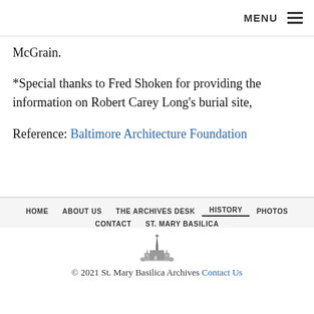MENU ☰
McGrain.
*Special thanks to Fred Shoken for providing the information on Robert Carey Long's burial site,
Reference: Baltimore Architecture Foundation
HOME   ABOUT US   THE ARCHIVES DESK   HISTORY   PHOTOS   CONTACT   ST. MARY BASILICA
© 2021 St. Mary Basilica Archives Contact Us